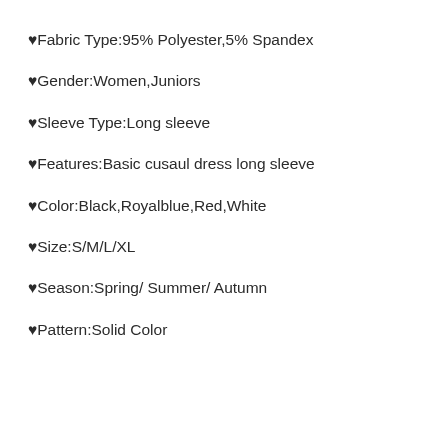♥Fabric Type:95% Polyester,5% Spandex
♥Gender:Women,Juniors
♥Sleeve Type:Long sleeve
♥Features:Basic cusaul dress long sleeve
♥Color:Black,Royalblue,Red,White
♥Size:S/M/L/XL
♥Season:Spring/ Summer/ Autumn
♥Pattern:Solid Color